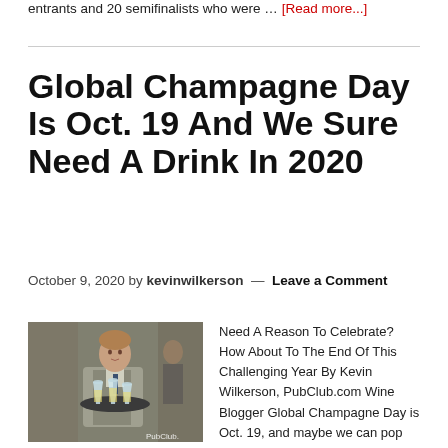entrants and 20 semifinalists who were … [Read more...]
Global Champagne Day Is Oct. 19 And We Sure Need A Drink In 2020
October 9, 2020 by kevinwilkerson — Leave a Comment
[Figure (photo): A woman server in a vest holding a tray of champagne glasses, with another person visible in the background. PubClub watermark visible.]
Need A Reason To Celebrate? How About To The End Of This Challenging Year By Kevin Wilkerson, PubClub.com Wine Blogger Global Champagne Day is Oct. 19, and maybe we can pop the cork to 2020 almost...